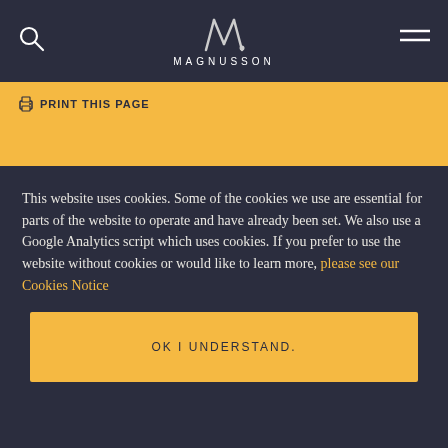[Figure (logo): Magnusson law firm logo with stylized M symbol and text MAGNUSSON]
PRINT THIS PAGE
This website uses cookies. Some of the cookies we use are essential for parts of the website to operate and have already been set. We also use a Google Analytics script which uses cookies. If you prefer to use the website without cookies or would like to learn more, please see our Cookies Notice
OK I UNDERSTAND.